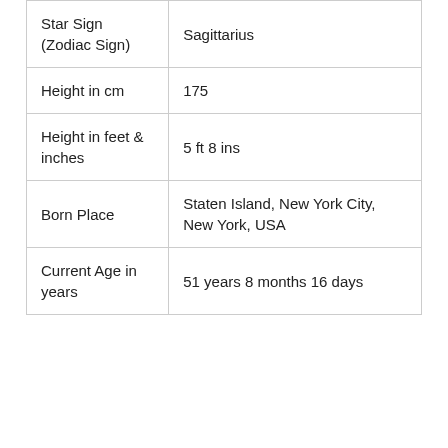| Star Sign (Zodiac Sign) | Sagittarius |
| Height in cm | 175 |
| Height in feet & inches | 5 ft 8 ins |
| Born Place | Staten Island, New York City, New York, USA |
| Current Age in years | 51 years 8 months 16 days |